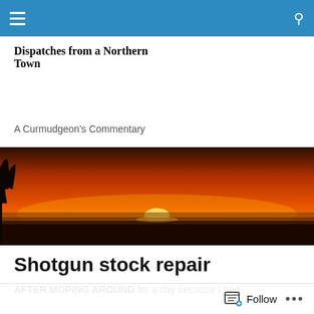Navigation bar with menu and search icons
Dispatches from a Northern Town
A Curmudgeon's Commentary
[Figure (photo): Wide landscape photo of a vivid orange and red sunset over a flat horizon, with a tree silhouette on the left and the sun just touching the horizon line.]
Shotgun stock repair
AFTER MOPING AROUND for a day because I had
Follow